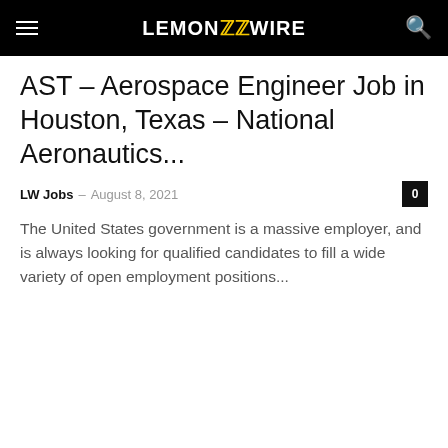LEMON ZZ WIRE
AST – Aerospace Engineer Job in Houston, Texas – National Aeronautics...
LW Jobs – August 8, 2021  0
The United States government is a massive employer, and is always looking for qualified candidates to fill a wide variety of open employment positions...
Jobs
Associate Chief Crew and Thermal Systems Division Job in Houston, Texas...